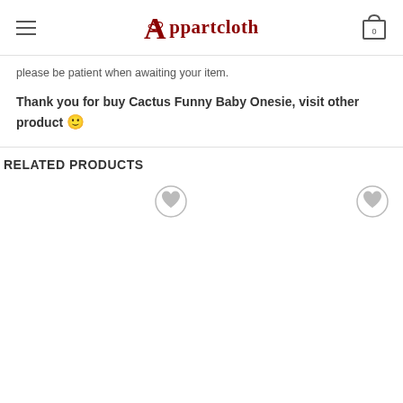Appartcloth
please be patient when awaiting your item.
Thank you for buy Cactus Funny Baby Onesie, visit other product 🙂
RELATED PRODUCTS
[Figure (other): Two product cards with heart/wishlist icons, part of a related products section on an e-commerce site.]